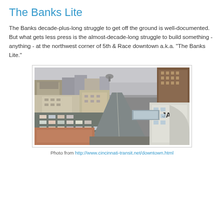The Banks Lite
The Banks decade-plus-long struggle to get off the ground is well-documented. But what gets less press is the almost-decade-long struggle to build something - anything - at the northwest corner of 5th & Race downtown a.k.a. "The Banks Lite."
[Figure (photo): Aerial/elevated view of downtown Cincinnati street intersection with parking lots, multi-story buildings, and a street receding into the distance. A building with 'JAZA' signage is visible on the right.]
Photo from http://www.cincinnati-transit.net/downtown.html